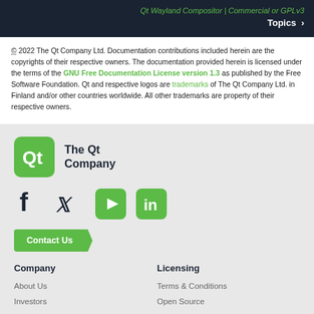Qt Wayland Compositor | Commercial or GPLv3
Topics >
© 2022 The Qt Company Ltd. Documentation contributions included herein are the copyrights of their respective owners. The documentation provided herein is licensed under the terms of the GNU Free Documentation License version 1.3 as published by the Free Software Foundation. Qt and respective logos are trademarks of The Qt Company Ltd. in Finland and/or other countries worldwide. All other trademarks are property of their respective owners.
[Figure (logo): Qt Company logo: green rounded square with Qt text in white, followed by 'The Qt Company' text]
[Figure (infographic): Social media icons: Facebook, Twitter, YouTube, LinkedIn]
Contact Us
Company
Licensing
About Us
Terms & Conditions
Investors
Open Source